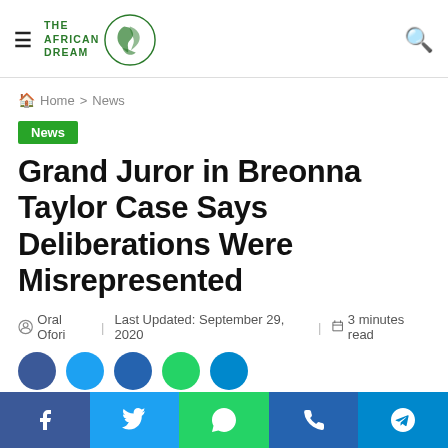THE AFRICAN DREAM — navigation header with logo and search icon
Home > News
News
Grand Juror in Breonna Taylor Case Says Deliberations Were Misrepresented
Oral Ofori   Last Updated: September 29, 2020   3 minutes read
[Figure (other): Social media share buttons bar at the bottom: Facebook, Twitter, WhatsApp, and Telegram]
Share bar with Facebook, Twitter, WhatsApp, Telegram icons